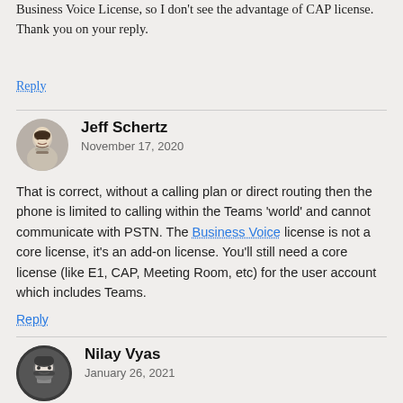Business Voice License, so I don't see the advantage of CAP license. Thank you on your reply.
Reply
Jeff Schertz
November 17, 2020
That is correct, without a calling plan or direct routing then the phone is limited to calling within the Teams 'world' and cannot communicate with PSTN. The Business Voice license is not a core license, it's an add-on license. You'll still need a core license (like E1, CAP, Meeting Room, etc) for the user account which includes Teams.
Reply
Nilay Vyas
January 26, 2021
Hi,